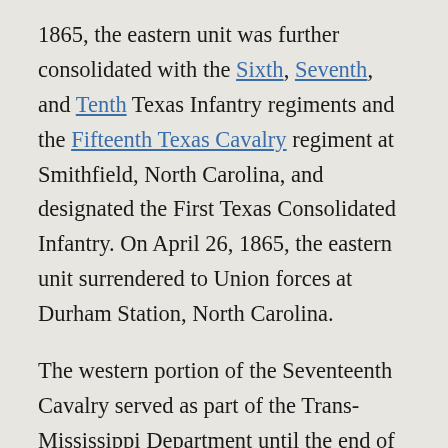1865, the eastern unit was further consolidated with the Sixth, Seventh, and Tenth Texas Infantry regiments and the Fifteenth Texas Cavalry regiment at Smithfield, North Carolina, and designated the First Texas Consolidated Infantry. On April 26, 1865, the eastern unit surrendered to Union forces at Durham Station, North Carolina.
The western portion of the Seventeenth Cavalry served as part of the Trans-Mississippi Department until the end of the war. From October to November 1863 the western unit of the regiment participated in the defense of western Louisiana and the Tech Country including actions as Opelousas, Barre Landing, Grand Coteau, Bayou Bourbeau, Carrion Crow Bayou, and Buzzard's